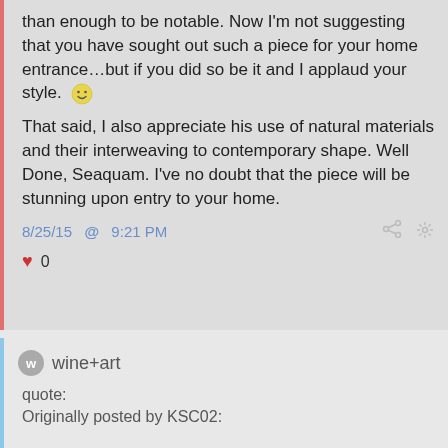than enough to be notable. Now I'm not suggesting that you have sought out such a piece for your home entrance…but if you did so be it and I applaud your style. 🙂
That said, I also appreciate his use of natural materials and their interweaving to contemporary shape. Well Done, Seaquam. I've no doubt that the piece will be stunning upon entry to your home.
8/25/15 @ 9:21 PM
♥ 0
wine+art
quote:
Originally posted by KSC02: